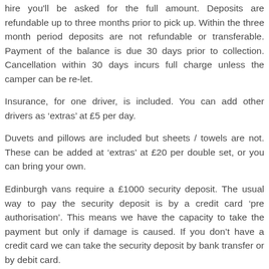hire you'll be asked for the full amount. Deposits are refundable up to three months prior to pick up. Within the three month period deposits are not refundable or transferable. Payment of the balance is due 30 days prior to collection. Cancellation within 30 days incurs full charge unless the camper can be re-let.
Insurance, for one driver, is included. You can add other drivers as 'extras' at £5 per day.
Duvets and pillows are included but sheets / towels are not. These can be added at 'extras' at £20 per double set, or you can bring your own.
Edinburgh vans require a £1000 security deposit. The usual way to pay the security deposit is by a credit card 'pre authorisation'. This means we have the capacity to take the payment but only if damage is caused. If you don't have a credit card we can take the security deposit by bank transfer or by debit card.
Please note that if you are booking for more than a week